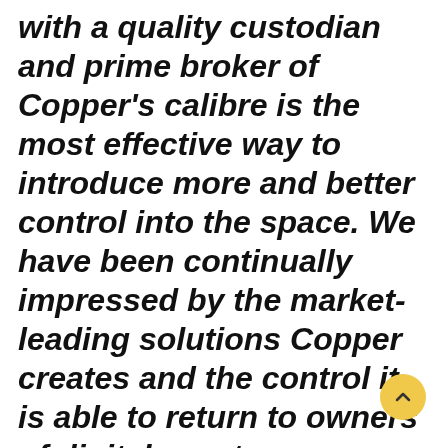with a quality custodian and prime broker of Copper's calibre is the most effective way to introduce more and better control into the space. We have been continually impressed by the market-leading solutions Copper creates and the control it is able to return to owners of digital assets – particularly across a broad range of exchanges – reducing risk